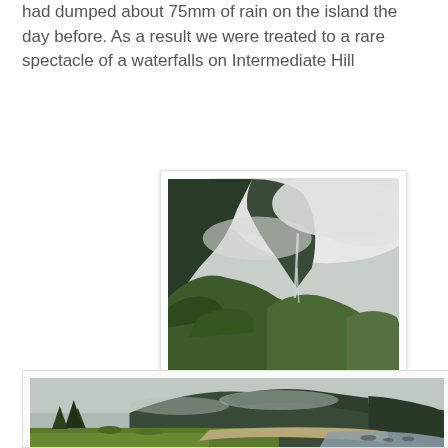had dumped about 75mm of rain on the island the day before. As a result we were treated to a rare spectacle of a waterfalls on Intermediate Hill
[Figure (photo): A misty green hillside with a tall cliff face partly obscured by low cloud/fog, and a thin waterfall visible cascading down the cliff face through dense forest.]
[Figure (photo): A wide open grassy area with pine trees on the left, a sandy beach and calm water in the middle distance, and a large hill/mountain range rising steeply in the background under overcast skies.]